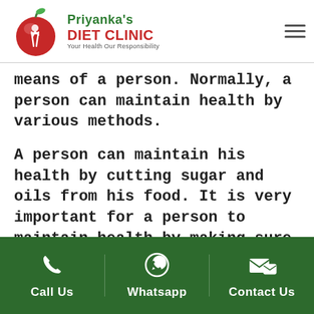Priyanka's DIET CLINIC — Your Health Our Responsibility
means of a person. Normally, a person can maintain health by various methods.
A person can maintain his health by cutting sugar and oils from his food. It is very important for a person to maintain health by making sure he eats healthy food. There are certain nutrients that should be there is a portion of healthy food.
Carbohydrates or energy-giving food.
Call Us | Whatsapp | Contact Us